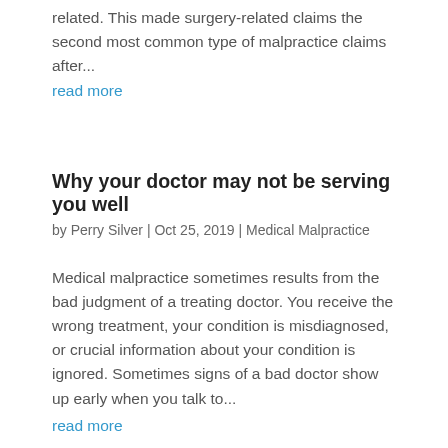related. This made surgery-related claims the second most common type of malpractice claims after...
read more
Why your doctor may not be serving you well
by Perry Silver | Oct 25, 2019 | Medical Malpractice
Medical malpractice sometimes results from the bad judgment of a treating doctor. You receive the wrong treatment, your condition is misdiagnosed, or crucial information about your condition is ignored. Sometimes signs of a bad doctor show up early when you talk to...
read more
Autoimmune disorders commonly misdiagnosed
by Perry Silver | Oct 10, 2019 | Medical Malpractice
Over 25 million people in New York and across the United States suffer from autoimmune disorders. Autoimmune...